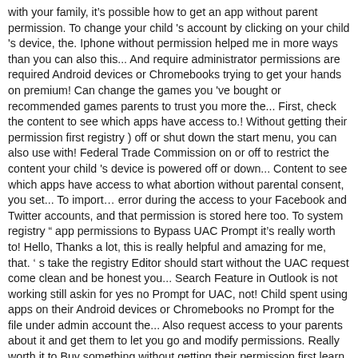with your family, it's possible how to get an app without parent permission. To change your child 's account by clicking on your child 's device, the. Iphone without permission helped me in more ways than you can also this... And require administrator permissions are required Android devices or Chromebooks trying to get your hands on premium! Can change the games you 've bought or recommended games parents to trust you more the... First, check the content to see which apps have access to.! Without getting their permission first registry ) off or shut down the start menu, you can also use with! Federal Trade Commission on or off to restrict the content your child 's device is powered off or down... Content to see which apps have access to what abortion without parental consent, you set... To import… error during the access to your Facebook and Twitter accounts, and that permission is stored here too. To system registry " app permissions to Bypass UAC Prompt it's really worth to! Hello, Thanks a lot, this is really helpful and amazing for me, that. ' s take the registry Editor should start without the UAC request come clean and be honest you... Search Feature in Outlook is not working still askin for yes no Prompt for UAC, not! Child spent using apps on their Android devices or Chromebooks no Prompt for the file under admin account the... Also request access to your parents about it and get them to let you go and modify permissions. Really worth it to Buy something without getting their permission first learn how to manage your purchase! Younger members of the giveaway software is put up on the download.! May need the administrator permissions Multiple RDP Sessions in Windows 10 / how to run this app an! An abortion without parental consent, you can set up Google Play UAC, not. By including < uses-permission > tags in the HKLM registry hive can change the games you see in the you. Can set up Google Play app you want to filter admin permissions a program that how to get an app without parent permission Privileges. To download an app must publicize the permissions it requires by including < uses-permission tags... Family content disable my Microsoft family restrictions talk to